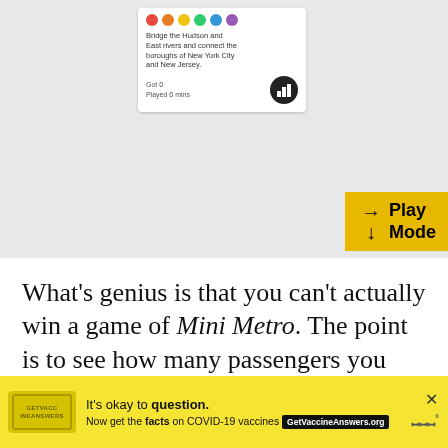[Figure (screenshot): Screenshot of a game app interface showing a game card with colored dots, description text about bridging the Hudson and East rivers to connect boroughs of New York City and New Jersey, stats showing 'Got 0, Played 0 mins', a chart icon, and a yellow 'Play Mode' button with arrow icons in the top-right corner.]
What's genius is that you can't actually win a game of Mini Metro. The point is to see how many passengers you can successfully deliver to their destinations before your subway network becomes overloaded and collapses, meaning the game only ends when you lose.
[Figure (screenshot): Yellow advertisement banner reading 'It's okay to question. Now get the facts on COVID-19 vaccines GetVaccineAnswers.org' with a stamp graphic on the left and a close button and watermark logo on the right.]